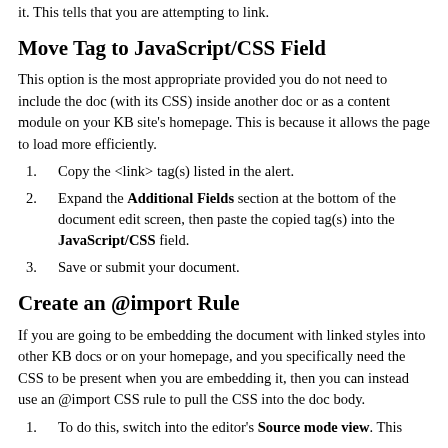it. This tells that you are attempting to link.
Move Tag to JavaScript/CSS Field
This option is the most appropriate provided you do not need to include the doc (with its CSS) inside another doc or as a content module on your KB site's homepage. This is because it allows the page to load more efficiently.
1. Copy the <link> tag(s) listed in the alert.
2. Expand the Additional Fields section at the bottom of the document edit screen, then paste the copied tag(s) into the JavaScript/CSS field.
3. Save or submit your document.
Create an @import Rule
If you are going to be embedding the document with linked styles into other KB docs or on your homepage, and you specifically need the CSS to be present when you are embedding it, then you can instead use an @import CSS rule to pull the CSS into the doc body.
1. To do this, switch into the editor's Source mode view. This